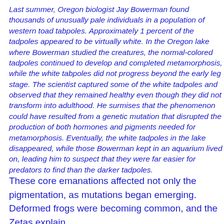Last summer, Oregon biologist Jay Bowerman found thousands of unusually pale individuals in a population of western toad tabpoles. Approximately 1 percent of the tadpoles appeared to be virtually white. In the Oregon lake where Bowerman studied the creatures, the normal-colored tadpoles continued to develop and completed metamorphosis, while the white tabpoles did not progress beyond the early leg stage. The scientist captured some of the white tadpoles and observed that they remained healthy even though they did not transform into adulthood. He surmises that the phenomenon could have resulted from a genetic mutation that disrupted the production of both hormones and pigments needed for metamorphosis. Eventually, the white tadpoles in the lake disappeared, while those Bowerman kept in an aquarium lived on, leading him to suspect that they were far easier for predators to find than the darker tadpoles.
These core emanations affected not only the pigmentation, as mutations began emerging. Deformed frogs were becoming common, and the Zetas explain.